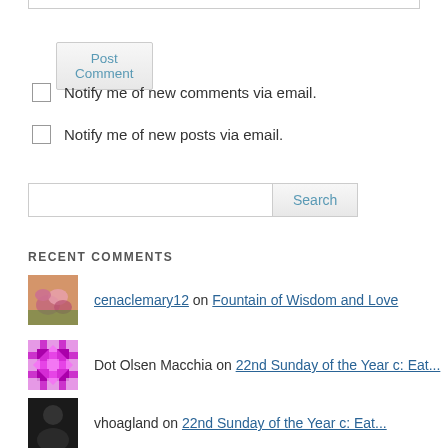[input field]
Post Comment
Notify me of new comments via email.
Notify me of new posts via email.
Search
RECENT COMMENTS
cenaclemary12 on Fountain of Wisdom and Love
Dot Olsen Macchia on 22nd Sunday of the Year c: Eat...
vhoagland on 22nd Sunday of the Year c: Eat...